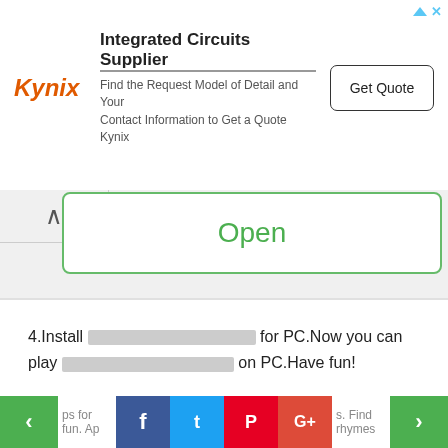[Figure (screenshot): Kynix advertisement banner: Integrated Circuits Supplier with Get Quote button]
[Figure (screenshot): Open button bar with chevron up arrow on left and green Open button]
4.Install [placeholder text] for PC.Now you can play [placeholder text] on PC.Have fun!
[Figure (screenshot): Second advertisement area: Download android apps. Useful android apps.]
[Figure (screenshot): Bottom navigation bar with previous/next green arrows, Facebook, Twitter, Pinterest, Google+ social share buttons and nav text]